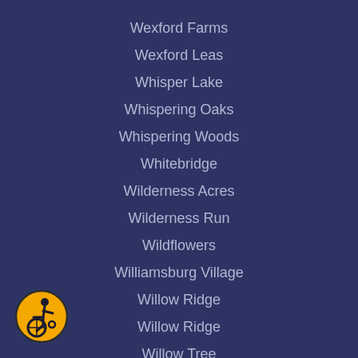Wexford Farms
Wexford Leas
Whisper Lake
Whispering Oaks
Whispering Woods
Whitebridge
Wilderness Acres
Wilderness Run
Wildflowers
Williamsburg Village
Willow Ridge
Willow Ridge
Willow Tree
Willowdale
Winchester Farms
Windermere
[Figure (illustration): Wheelchair accessibility icon — yellow circle with dark border containing a wheelchair user symbol in black]